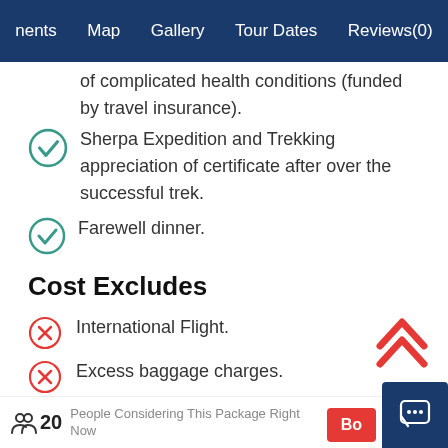nents   Map   Gallery   Tour Dates   Reviews(0)
of complicated health conditions (funded by travel insurance).
Sherpa Expedition and Trekking appreciation of certificate after over the successful trek.
Farewell dinner.
Cost Excludes
International Flight.
Excess baggage charges.
Lunch and Dinner in Kathmandu and pokhara.
Extra night accommodation in Kathmandu a…
20 People Considering This Package Right Now